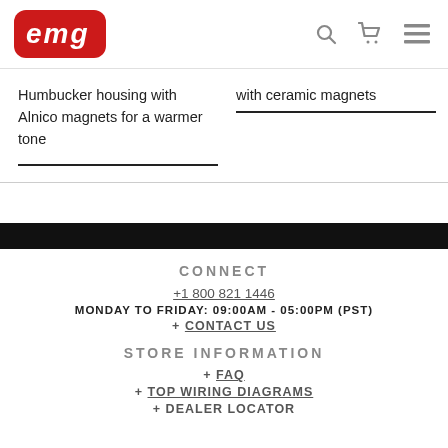[Figure (logo): EMG logo — white italic text on red rounded rectangle]
Humbucker housing with Alnico magnets for a warmer tone
with ceramic magnets
CONNECT
+1 800 821 1446
MONDAY TO FRIDAY: 09:00AM - 05:00PM (PST)
+ CONTACT US
STORE INFORMATION
+ FAQ
+ TOP WIRING DIAGRAMS
+ DEALER LOCATOR